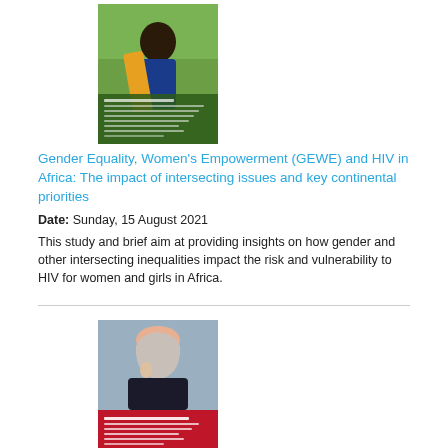[Figure (photo): Cover image of a publication about Gender Equality, Women's Empowerment and HIV in Africa, showing a woman in colorful attire with agricultural background and green overlay text]
Gender Equality, Women's Empowerment (GEWE) and HIV in Africa: The impact of intersecting issues and key continental priorities
Date: Sunday, 15 August 2021
This study and brief aim at providing insights on how gender and other intersecting inequalities impact the risk and vulnerability to HIV for women and girls in Africa.
[Figure (photo): Cover image of a report about Strengthening the Resilience of Syrian Women and Girls and Host Communities programme, showing a woman in hijab with red and white design elements and EU/UN Women logos]
Synthesis Final Evaluation Report "Strengthening the Resilience of Syrian Women and Girls and Host Communities programme
Date: Thursday, 25 March 2021